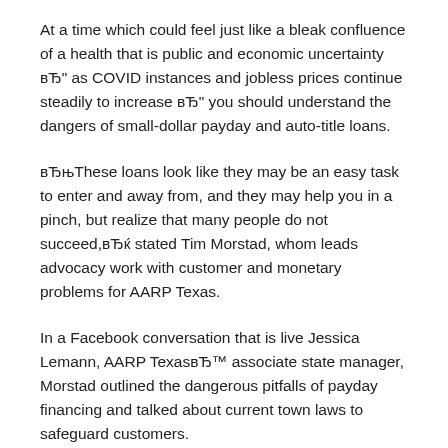At a time which could feel just like a bleak confluence of a health that is public and economic uncertainty вЂ" as COVID instances and jobless prices continue steadily to increase вЂ" you should understand the dangers of small-dollar payday and auto-title loans.
вЂњThese loans look like they may be an easy task to enter and away from, and they may help you in a pinch, but realize that many people do not succeed,вЂќ stated Tim Morstad, whom leads advocacy work with customer and monetary problems for AARP Texas.
In a Facebook conversation that is live Jessica Lemann, AARP TexasвЂ™ associate state manager, Morstad outlined the dangerous pitfalls of payday financing and talked about current town laws to safeguard customers.
Pay day loans, which are generally short-term, small-dollar loans